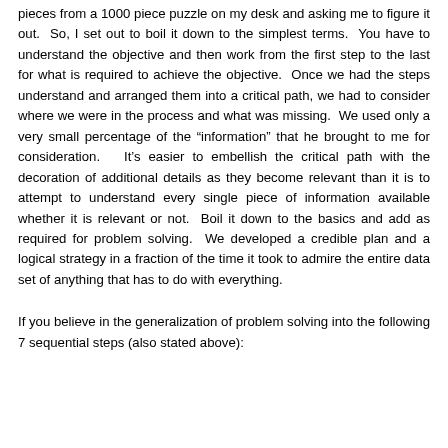pieces from a 1000 piece puzzle on my desk and asking me to figure it out.  So, I set out to boil it down to the simplest terms.  You have to understand the objective and then work from the first step to the last for what is required to achieve the objective.  Once we had the steps understand and arranged them into a critical path, we had to consider where we were in the process and what was missing.  We used only a very small percentage of the “information” that he brought to me for consideration.   It’s easier to embellish the critical path with the decoration of additional details as they become relevant than it is to attempt to understand every single piece of information available whether it is relevant or not.  Boil it down to the basics and add as required for problem solving.  We developed a credible plan and a logical strategy in a fraction of the time it took to admire the entire data set of anything that has to do with everything.
If you believe in the generalization of problem solving into the following 7 sequential steps (also stated above):